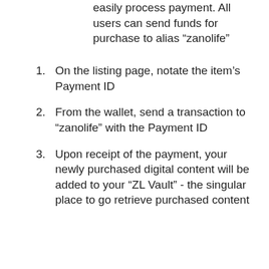easily process payment. All users can send funds for purchase to alias “zanolife”
On the listing page, notate the item’s Payment ID
From the wallet, send a transaction to “zanolife” with the Payment ID
Upon receipt of the payment, your newly purchased digital content will be added to your “ZL Vault” - the singular place to go retrieve purchased content